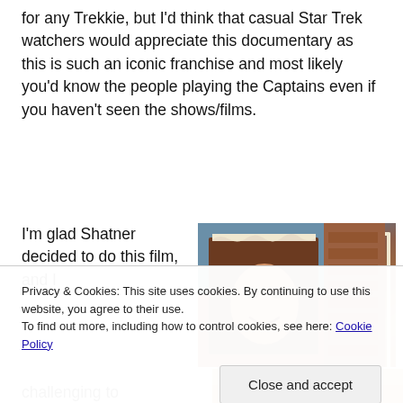for any Trekkie, but I'd think that casual Star Trek watchers would appreciate this documentary as this is such an iconic franchise and most likely you'd know the people playing the Captains even if you haven't seen the shows/films.
I'm glad Shatner decided to do this film, and I
[Figure (photo): Photo of a person smiling, visible through a rectangular opening or frame, with brick wall visible in the background.]
Privacy & Cookies: This site uses cookies. By continuing to use this website, you agree to their use.
To find out more, including how to control cookies, see here: Cookie Policy
Close and accept
challenging to